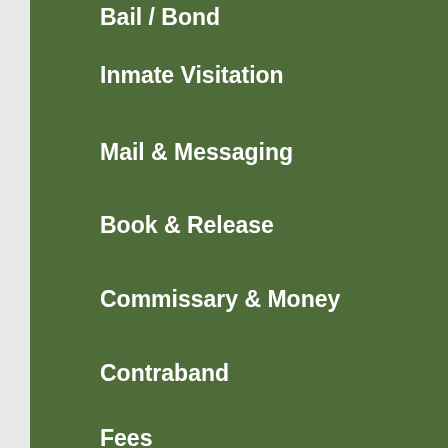Bail / Bond
Inmate Visitation
Mail & Messaging
Book & Release
Commissary & Money
Contraband
Fees